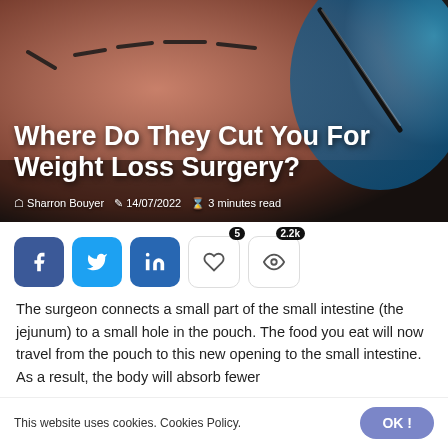[Figure (photo): A close-up photo of a person's abdomen with surgical marker lines drawn on the skin, and a gloved blue hand holding a surgical instrument. The image serves as the hero background for an article about weight loss surgery incision locations.]
Where Do They Cut You For Weight Loss Surgery?
Sharron Bouyer  14/07/2022  3 minutes read
[Figure (infographic): Social media sharing buttons: Facebook (f), Twitter (bird icon), LinkedIn (in). Two engagement boxes: one with heart icon showing 5 likes, one with eye icon showing 2.2k views.]
The surgeon connects a small part of the small intestine (the jejunum) to a small hole in the pouch. The food you eat will now travel from the pouch to this new opening to the small intestine. As a result, the body will absorb fewer